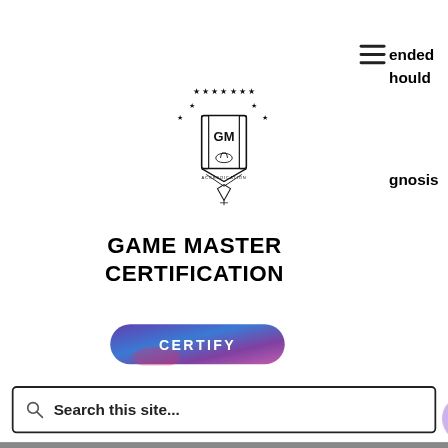[Figure (screenshot): Website screenshot showing Game Master Certification mobile menu overlay with logo, CERTIFY button, search bar, footer link, and copyright notice. Gray background visible on right side with partial text 'ended', 'hould', 'gnosis'.]
[Figure (logo): Game Master Certification logo: shield/crest with GM letters and flame, surrounded by stars in a circular arrangement.]
GAME MASTER CERTIFICATION
CERTIFY
Search this site...
Do Not Sell My Personal Information
©2020 by Game Mastery Certification Org.